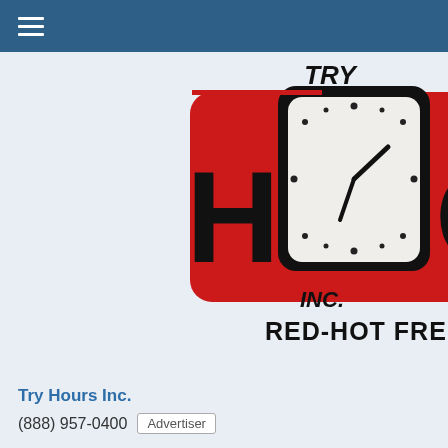[Figure (logo): Try Hours Inc. logo with clock replacing the O in HOURS, red background rectangle, INC. text, and RED-HOT FREIGHT EXPE... tagline below]
Try Hours Inc.
(888) 957-0400  Advertiser